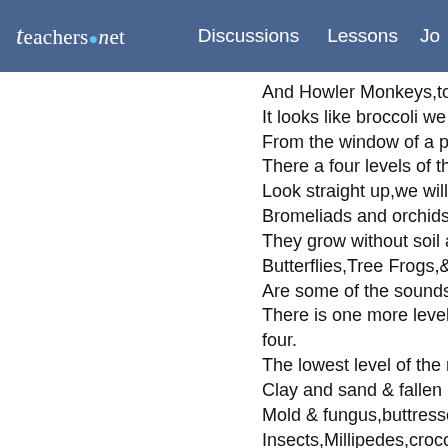teachers.net   Discussions   Lessons   Jo
And Howler Monkeys,to name a fe
It looks like broccoli we would say
From the window of a plane on a s
There a four levels of the rainfores
Look straight up,we will find what's
Bromeliads and orchids are called
They grow without soil at different
Butterflies,Tree Frogs,& hummingb
Are some of the sounds that can b
There is one more level of the rain
four.
The lowest level of the rainforest is
Clay and sand & fallen leaves
Mold & fungus,buttressed roots of
Insects,Millipedes,crocodile
Anacondas & natives who love to s
At the four levels of the rainforest .
There are four levels of the rainfore
Emergent Layer & canopy
Are one & two,let's go for three